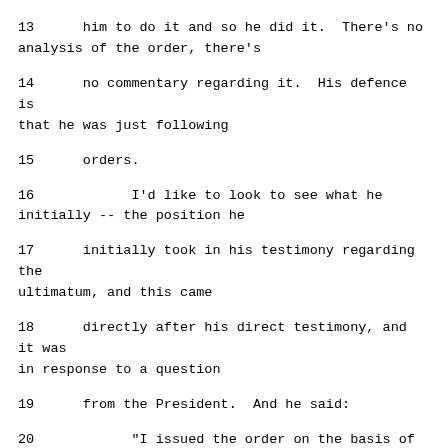13      him to do it and so he did it.  There's no analysis of the order, there's
14      no commentary regarding it.  His defence is that he was just following
15      orders.
16            I'd like to look to see what he initially -- the position he
17      initially took in his testimony regarding the ultimatum, and this came
18      directly after his direct testimony, and it was in response to a question
19      from the President.  And he said:
20            "I issued the order on the basis of a